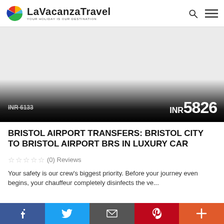LaVacanzaTravel — YOUR HOLIDAY IS OUR DESTINATION
[Figure (photo): Hero image area (white/light gray placeholder) with gradient overlay at bottom showing crossed-out price INR 6133 and current price INR 5826]
BRISTOL AIRPORT TRANSFERS: BRISTOL CITY TO BRISTOL AIRPORT BRS IN LUXURY CAR
☆ ☆ ☆ ☆ ☆ (0) Reviews
Your safety is our crew's biggest priority. Before your journey even begins, your chauffeur completely disinfects the ve...
Social share bar: Facebook, Twitter, Email, Pinterest, More